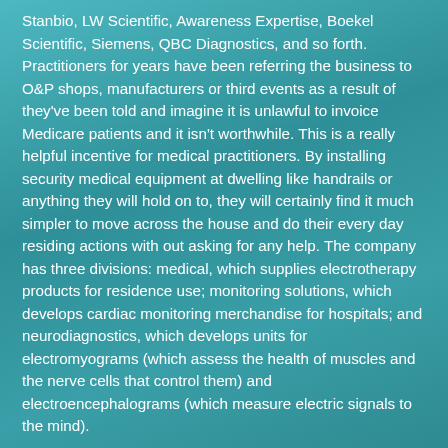Stanbio, LW Scientific, Awareness Expertise, Boekel Scientific, Siemens, QBC Diagnostics, and so forth. Practitioners for years have been referring the business to O&P shops, manufacturers or third events as a result of they've been told and imagine it is unlawful to invoice Medicare patients and it isn't worthwhile. This is a really helpful incentive for medical practitioners. By installing security medical equipment at dwelling like handrails or anything they will hold on to, they will certainly find it much simpler to move across the house and do their every day residing actions with out asking for any help. The company has three divisions: medical, which supplies electrotherapy products for residence use; monitoring solutions, which develops cardiac monitoring merchandise for hospitals; and neurodiagnostics, which develops units for electromyograms (which assess the health of muscles and the nerve cells that control them) and electroencephalograms (which measure electric signals to the mind).
Medical equipment consult with an array of gadgets like scanner, x-ray machines, extremely-sound machines, sonograms, endoscopy, wheel chair, oxygen machines, electric beds, patient carry's and so on. to name just a few. His experience is in the area of Authorized Compliance, Billing, Coding Operational Management, & Stock for Durable Medical Equipment and so on. to name just a few.